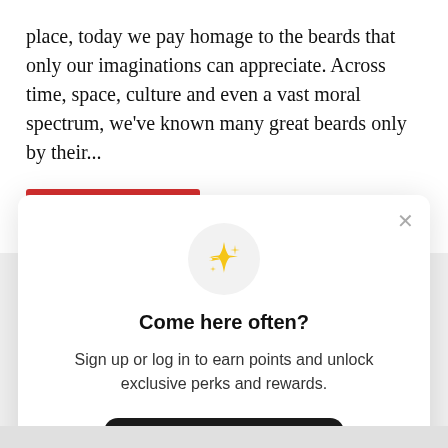place, today we pay homage to the beards that only our imaginations can appreciate. Across time, space, culture and even a vast moral spectrum, we've known many great beards only by their...
[Figure (other): Red button labeled READ MORE]
[Figure (infographic): Modal popup with sparkle emoji icon, title 'Come here often?', body text, Sign up button, and sign in link]
Come here often?
Sign up or log in to earn points and unlock exclusive perks and rewards.
Already have an account? Sign in